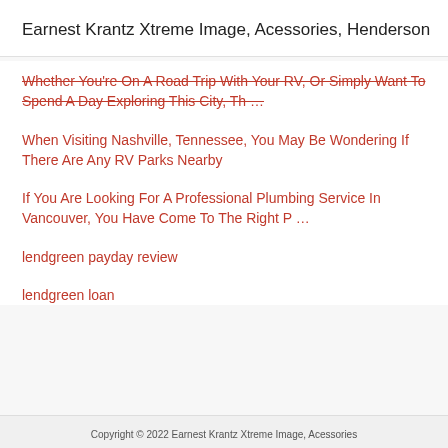Earnest Krantz Xtreme Image, Acessories, Henderson
Whether You're On A Road Trip With Your RV, Or Simply Want To Spend A Day Exploring This City, Th …
When Visiting Nashville, Tennessee, You May Be Wondering If There Are Any RV Parks Nearby
If You Are Looking For A Professional Plumbing Service In Vancouver, You Have Come To The Right P …
lendgreen payday review
lendgreen loan
Copyright © 2022 Earnest Krantz Xtreme Image, Acessories